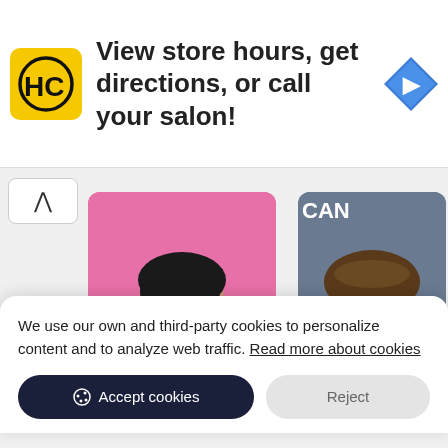[Figure (screenshot): Advertisement banner with HC salon logo (yellow square with black HC letters), text 'View store hours, get directions, or call your salon!', and a blue navigation arrow icon on the right]
[Figure (photo): Person 1: person with dark short hair, yellow jacket, checkered bow tie, laughing, against pink background]
[Figure (photo): Person 2: young man with wavy brown hair and beard, wearing dark turtleneck, against dark background with CAN text visible]
We use our own and third-party cookies to personalize content and to analyze web traffic. Read more about cookies
Accept cookies
Reject